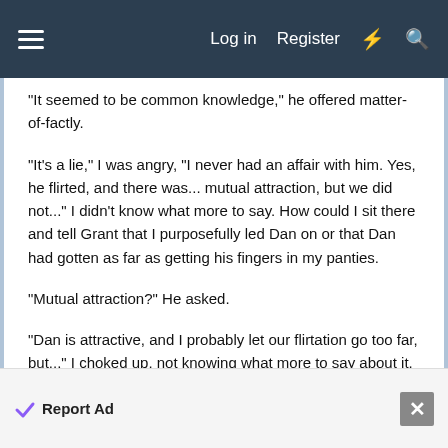Log in  Register
"It seemed to be common knowledge," he offered matter-of-factly.
"It's a lie," I was angry, "I never had an affair with him. Yes, he flirted, and there was... mutual attraction, but we did not..." I didn't know what more to say. How could I sit there and tell Grant that I purposefully led Dan on or that Dan had gotten as far as getting his fingers in my panties.
"Mutual attraction?" He asked.
"Dan is attractive, and I probably let our flirtation go too far, but..." I choked up, not knowing what more to say about it. I felt tears starting to form in my eyes.
"This is making you upset, I'm sorry, I didn't mean to
Report Ad